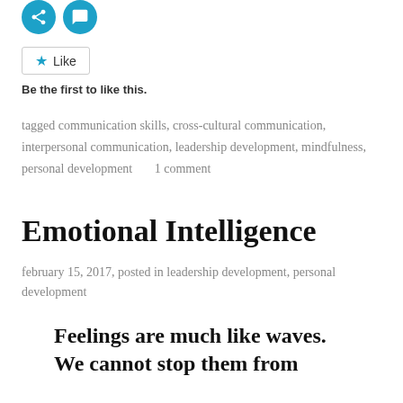[Figure (illustration): Two circular social media share icons in teal/blue color]
Like
Be the first to like this.
tagged communication skills, cross-cultural communication, interpersonal communication, leadership development, mindfulness, personal development      1 comment
Emotional Intelligence
february 15, 2017, posted in leadership development, personal development
Feelings are much like waves. We cannot stop them from